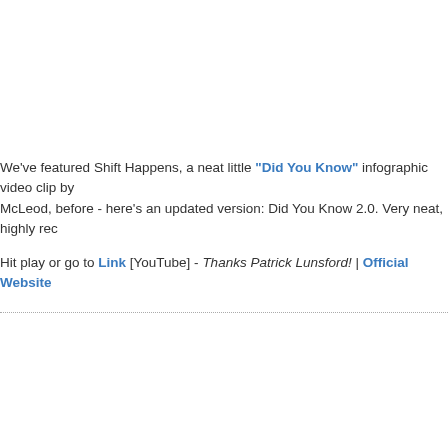We've featured Shift Happens, a neat little "Did You Know" infographic video clip by McLeod, before - here's an updated version: Did You Know 2.0. Very neat, highly rec...
Hit play or go to Link [YouTube] - Thanks Patrick Lunsford! | Official Website